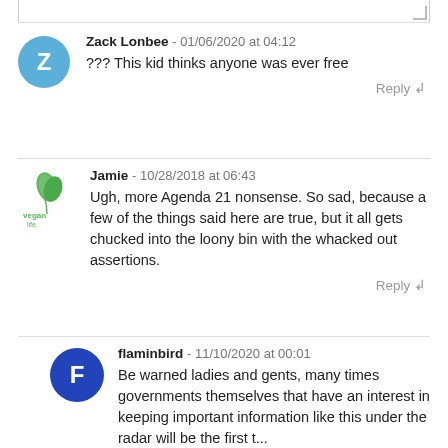Zack Lonbee - 01/06/2020 at 04:12
??? This kid thinks anyone was ever free
Reply
Jamie - 10/28/2018 at 06:43
Ugh, more Agenda 21 nonsense. So sad, because a few of the things said here are true, but it all gets chucked into the loony bin with the whacked out assertions.
Reply
flaminbird - 11/10/2020 at 00:01
Be warned ladies and gents, many times governments themselves that have an interest in keeping important information like this under the radar will be the first t...